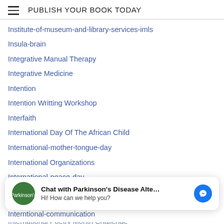PUBLISH YOUR BOOK TODAY
Institute-of-museum-and-library-services-imls
Insula-brain
Integrative Manual Therapy
Integrative Medicine
Intention
Intention Writting Workshop
Interfaith
International Day Of The African Child
International-mother-tongue-day
International Organizations
International-peace-day
International-poetry-month
International-poetry-month
International Poetry Month Challenge
Interntional-communication